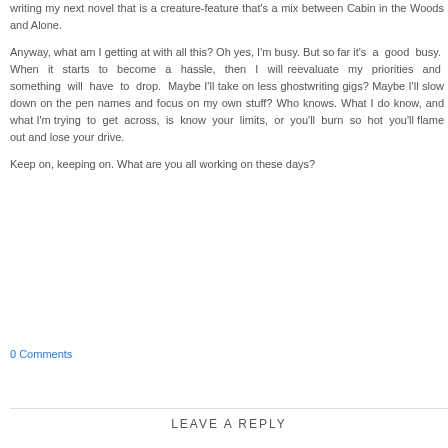writing my next novel that is a creature-feature that's a mix between Cabin in the Woods and Alone.
Anyway, what am I getting at with all this? Oh yes, I'm busy. But so far it's a good busy. When it starts to become a hassle, then I will reevaluate my priorities and something will have to drop. Maybe I'll take on less ghostwriting gigs? Maybe I'll slow down on the pen names and focus on my own stuff? Who knows. What I do know, and what I'm trying to get across, is know your limits, or you'll burn so hot you'll flame out and lose your drive.
Keep on, keeping on. What are you all working on these days?
0 Comments
LEAVE A REPLY